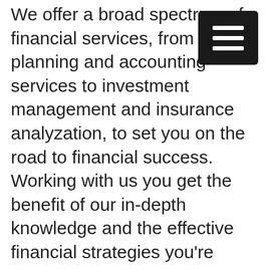[Figure (other): Hamburger menu icon — three horizontal white lines on a dark square background, positioned top-right corner]
We offer a broad spectrum of financial services, from tax planning and accounting services to investment management and insurance analyzation, to set you on the road to financial success. Working with us you get the benefit of our in-depth knowledge and the effective financial strategies you're looking for all in one place we find it very convenient for all of the customers we work with with our best CPAs Tulsa and we love to do that for you as well as you join our company today we can help you with many things. We would love to help you in the accounting field we offer ride range of accounting services tailored to meet the particular needs of both